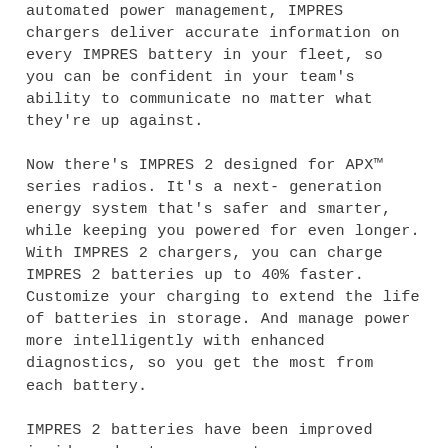automated power management, IMPRES chargers deliver accurate information on every IMPRES battery in your fleet, so you can be confident in your team's ability to communicate no matter what they're up against.
Now there's IMPRES 2 designed for APX™ series radios. It's a next-generation energy system that's safer and smarter, while keeping you powered for even longer. With IMPRES 2 chargers, you can charge IMPRES 2 batteries up to 40% faster. Customize your charging to extend the life of batteries in storage. And manage power more intelligently with enhanced diagnostics, so you get the most from each battery.
IMPRES 2 batteries have been improved inside and out, so your team